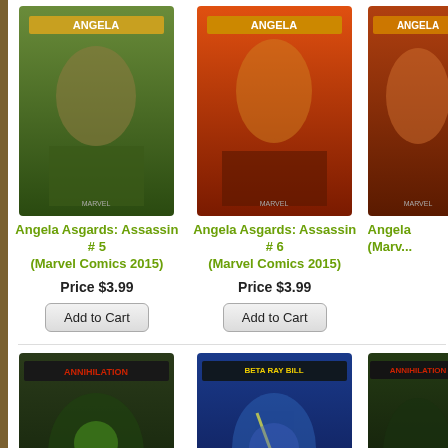[Figure (illustration): Comic book cover: Angela Asgards Assassin #5 (Marvel Comics 2015)]
Angela Asgards: Assassin # 5 (Marvel Comics 2015)
Price $3.99
Add to Cart
[Figure (illustration): Comic book cover: Angela Asgards Assassin #6 (Marvel Comics 2015)]
Angela Asgards: Assassin # 6 (Marvel Comics 2015)
Price $3.99
Add to Cart
[Figure (illustration): Comic book cover: Angela (partial, Marvel Comics)]
Angela (Marvel Comics) (partial)
[Figure (illustration): Comic book cover: Annihilation Scourge Alpha #1 (Marvel Comics 2019)]
Annihilation Scourge: Alpha # 1 (Marvel Comics 2019)
Price $4.99
Add to Cart
[Figure (illustration): Comic book cover: Annihilation Scourge Beta Ray Bill #1 (Marvel Comics 2019)]
Annihilation Scourge: Beta Ray Bill # 1 (Marvel Comics 2019)
Price $4.99
Add to Cart
[Figure (illustration): Comic book cover: Annihilation (partial, Marvel Comics)]
Annihilat... # 1 (Mar... (partial)